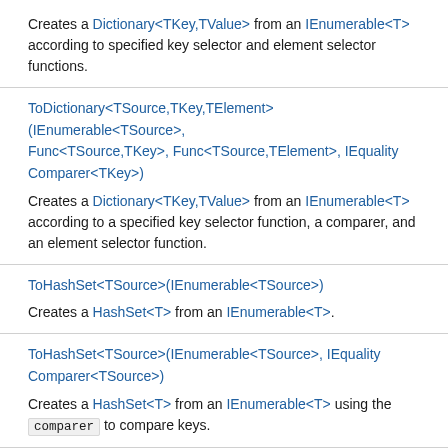Creates a Dictionary<TKey,TValue> from an IEnumerable<T> according to specified key selector and element selector functions.
ToDictionary<TSource,TKey,TElement>(IEnumerable<TSource>, Func<TSource,TKey>, Func<TSource,TElement>, IEqualityComparer<TKey>)
Creates a Dictionary<TKey,TValue> from an IEnumerable<T> according to a specified key selector function, a comparer, and an element selector function.
ToHashSet<TSource>(IEnumerable<TSource>)
Creates a HashSet<T> from an IEnumerable<T>.
ToHashSet<TSource>(IEnumerable<TSource>, IEqualityComparer<TSource>)
Creates a HashSet<T> from an IEnumerable<T> using the comparer to compare keys.
ToList<TSource>(IEnumerable<TSource>)